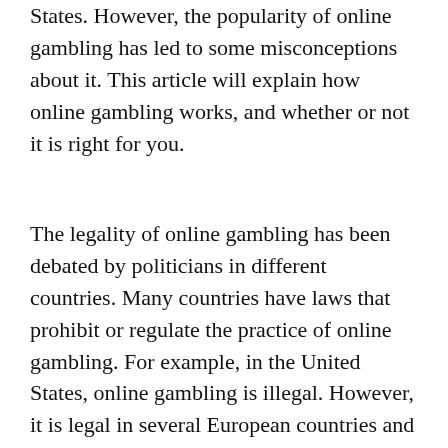States. However, the popularity of online gambling has led to some misconceptions about it. This article will explain how online gambling works, and whether or not it is right for you.
The legality of online gambling has been debated by politicians in different countries. Many countries have laws that prohibit or regulate the practice of online gambling. For example, in the United States, online gambling is illegal. However, it is legal in several European countries and in the Caribbean. Most of these countries require that online gambling service providers hold a license from a government agency. Some jurisdictions have even banned online gambling entirely. The US federal government has repeatedly stated that it will not tolerate the practice of online gambling.
The legality of online gambling varies by country. Many countries restrict the activity. In the United States, it is